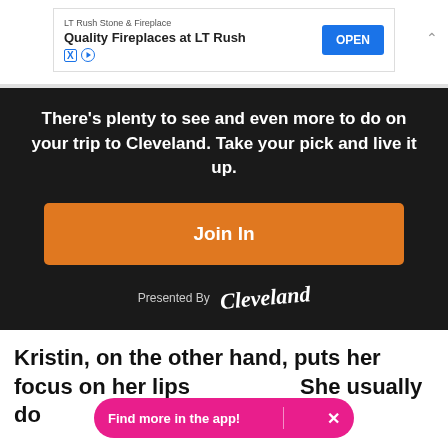[Figure (screenshot): Advertisement banner for LT Rush Stone & Fireplace with blue OPEN button]
There's plenty to see and even more to do on your trip to Cleveland. Take your pick and live it up.
Join In
Presented By Cleveland
Kristin, on the other hand, puts her focus on her lips with a fresh look. She usually does ... her eyes
Find more in the app! ×